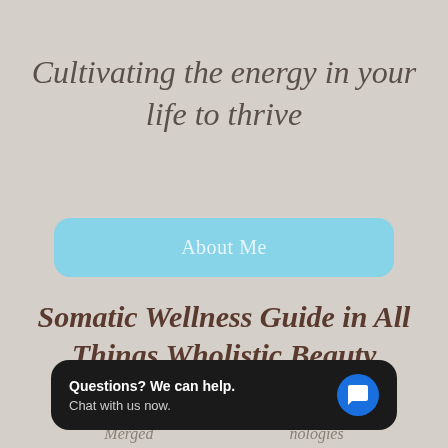Cultivating the energy in your life to thrive
About Me
Somatic Wellness Guide in All Things Wholistic Beauty
Giving You [Ancient] Traditions Merged [with Modern Tech]nologies
Questions? We can help. Chat with us now.